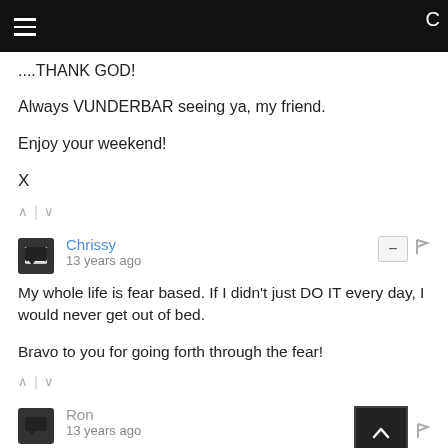....THANK GOD!
Always VUNDERBAR seeing ya, my friend.
Enjoy your weekend!
X
Chrissy · 13 years ago
My whole life is fear based. If I didn't just DO IT every day, I would never get out of bed.

Bravo to you for going forth through the fear!
Ron · 13 years ago
Morning Chrissy!